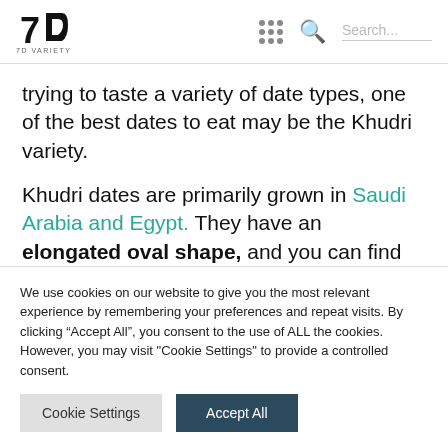7D VARIETY [logo with navigation icons and search]
trying to taste a variety of date types, one of the best dates to eat may be the Khudri variety.
Khudri dates are primarily grown in Saudi Arabia and Egypt. They have an elongated oval shape, and you can find them in small or large sizes. They usually have a uniform amber to dark brown
We use cookies on our website to give you the most relevant experience by remembering your preferences and repeat visits. By clicking “Accept All”, you consent to the use of ALL the cookies. However, you may visit "Cookie Settings" to provide a controlled consent.